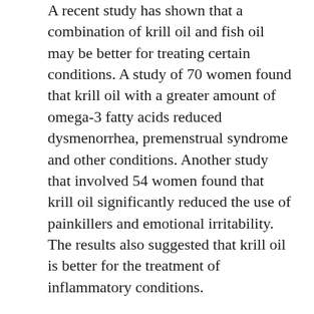A recent study has shown that a combination of krill oil and fish oil may be better for treating certain conditions. A study of 70 women found that krill oil with a greater amount of omega-3 fatty acids reduced dysmenorrhea, premenstrual syndrome and other conditions. Another study that involved 54 women found that krill oil significantly reduced the use of painkillers and emotional irritability. The results also suggested that krill oil is better for the treatment of inflammatory conditions.
Choline
Choline from krill oil has been studied to improve muscle function, especially for endurance athletes. The results showed that this supplement significantly increased the amount